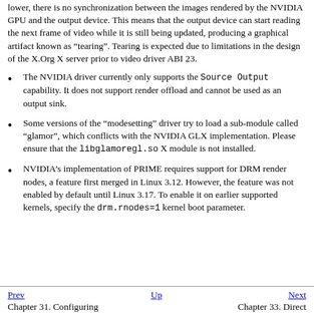lower, there is no synchronization between the images rendered by the NVIDIA GPU and the output device. This means that the output device can start reading the next frame of video while it is still being updated, producing a graphical artifact known as “tearing”. Tearing is expected due to limitations in the design of the X.Org X server prior to video driver ABI 23.
The NVIDIA driver currently only supports the Source Output capability. It does not support render offload and cannot be used as an output sink.
Some versions of the “modesetting” driver try to load a sub-module called “glamor”, which conflicts with the NVIDIA GLX implementation. Please ensure that the libglamoregl.so X module is not installed.
NVIDIA’s implementation of PRIME requires support for DRM render nodes, a feature first merged in Linux 3.12. However, the feature was not enabled by default until Linux 3.17. To enable it on earlier supported kernels, specify the drm.rnodes=1 kernel boot parameter.
Prev  Up  Next
Chapter 31. Configuring    Chapter 33. Direct